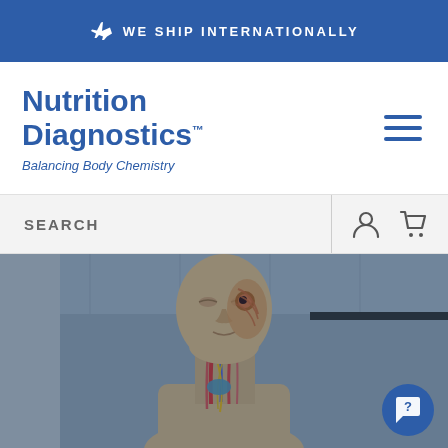WE SHIP INTERNATIONALLY
Nutrition Diagnostics™
Balancing Body Chemistry
SEARCH
[Figure (photo): Anatomical human head and neck model showing internal structures including muscles, nerves, and organs, displayed in a clinical/educational setting with a slightly dark blue overlay]